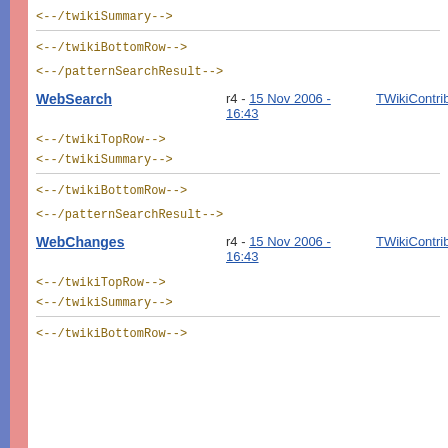<--/twikiSummary-->
<--/twikiBottomRow-->
<--/patternSearchResult-->
WebSearch  r4 - 15 Nov 2006 - 16:43  TWikiContribute
<--/twikiTopRow-->
<--/twikiSummary-->
<--/twikiBottomRow-->
<--/patternSearchResult-->
WebChanges  r4 - 15 Nov 2006 - 16:43  TWikiContribute
<--/twikiTopRow-->
<--/twikiSummary-->
<--/twikiBottomRow-->